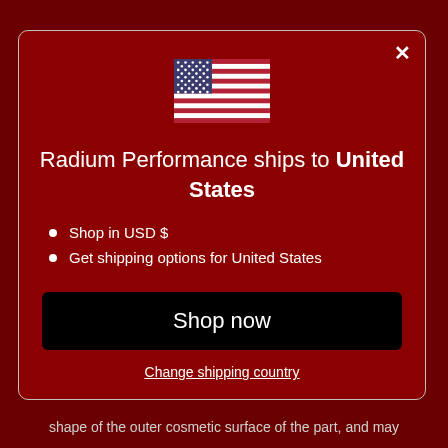[Figure (illustration): US flag emoji/icon displayed centered in the modal]
Radium Performance ships to United States
Shop in USD $
Get shipping options for United States
Shop now
Change shipping country
shape of the outer cosmetic surface of the part, and may